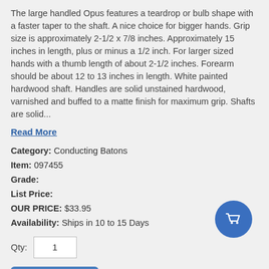The large handled Opus features a teardrop or bulb shape with a faster taper to the shaft. A nice choice for bigger hands. Grip size is approximately 2-1/2 x 7/8 inches. Approximately 15 inches in length, plus or minus a 1/2 inch. For larger sized hands with a thumb length of about 2-1/2 inches. Forearm should be about 12 to 13 inches in length. White painted hardwood shaft. Handles are solid unstained hardwood, varnished and buffed to a matte finish for maximum grip. Shafts are solid...
Read More
Category: Conducting Batons
Item: 097455
Grade:
List Price:
OUR PRICE: $33.95
Availability: Ships in 10 to 15 Days
Qty: 1
Add To Cart